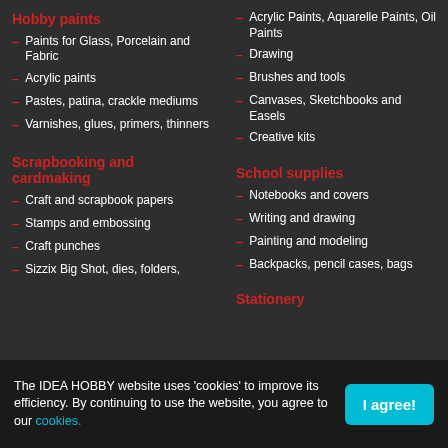Hobby paints
Paints for Glass, Porcelain and Fabric
Acrylic paints
Pastes, patina, crackle mediums
Varnishes, glues, primers, thinners
Scrapbooking and cardmaking
Craft and scrapbook papers
Stamps and embossing
Craft punches
Sizzix Big Shot, dies, folders,
Acrylic Paints, Aquarelle Paints, Oil Paints
Drawing
Brushes and tools
Canvases, Sketchbooks and Easels
Creative kits
School supplies
Notebooks and covers
Writing and drawing
Painting and modeling
Backpacks, pencil cases, bags
Stationery
The IDEA HOBBY website uses 'cookies' to improve its efficiency. By continuing to use the website, you agree to our cookies.